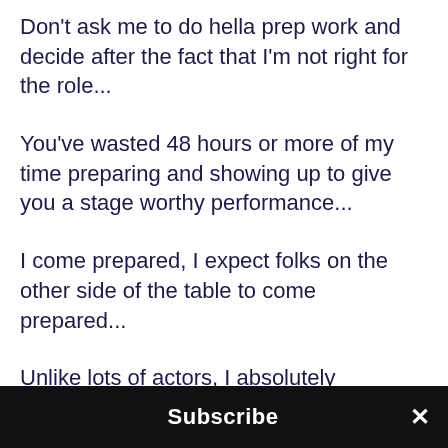Don't ask me to do hella prep work and decide after the fact that I'm not right for the role...
You've wasted 48 hours or more of my time preparing and showing up to give you a stage worthy performance...
I come prepared, I expect folks on the other side of the table to come prepared...
Unlike lots of actors, I absolutely understand that this is a business...
so, let's act like it ...because time is money....
Subscribe ×